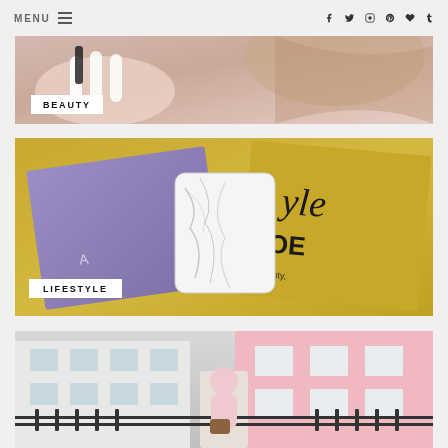MENU  [hamburger icon]  [social icons: facebook, twitter, instagram, pinterest, heart, tumblr]
[Figure (photo): Close-up beauty photo of a woman applying makeup or holding a cosmetic product, manicured hand visible]
BEAUTY
[Figure (photo): Lifestyle flat-lay photo of books including a gold-covered Style book and a purple book, with a white marble phone case on top]
LIFESTYLE
[Figure (photo): Street style fashion photo of a woman in a pink outfit standing in front of a pink building with white windows]